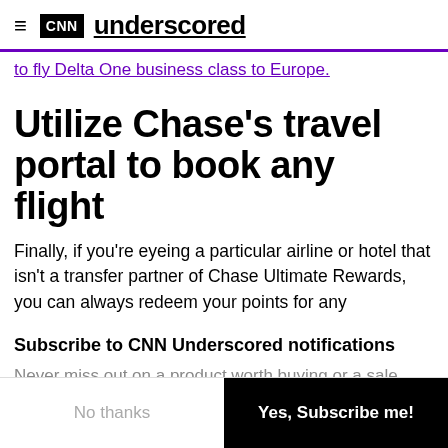CNN Underscored
to fly Delta One business class to Europe.
Utilize Chase's travel portal to book any flight
Finally, if you're eyeing a particular airline or hotel that isn't a transfer partner of Chase Ultimate Rewards, you can always redeem your points for any
Subscribe to CNN Underscored notifications
Never miss out on a product worth buying or a sale worth shopping by subscribing to our push notifications.
No thanks
Yes, Subscribe me!